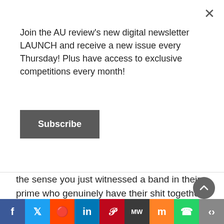Join the AU review's new digital newsletter LAUNCH and receive a new issue every Thursday! Plus have access to exclusive competitions every month!
Subscribe
the sense you just witnessed a band in their prime who genuinely have their shit together on stage. If you still can, definitely head along to a Northeast Party House party over the coming weeks. You won't have a bad time.
Northeast Party House continue their tour in Hobart and Melbourne this weekend. For dates and all the details, head to their Facebook Page.
———-
This content has recently been ported from its origin